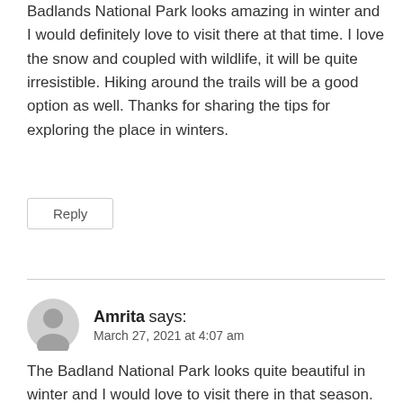Badlands National Park looks amazing in winter and I would definitely love to visit there at that time. I love the snow and coupled with wildlife, it will be quite irresistible. Hiking around the trails will be a good option as well. Thanks for sharing the tips for exploring the place in winters.
Reply
Amrita says:
March 27, 2021 at 4:07 am
The Badland National Park looks quite beautiful in winter and I would love to visit there in that season. Exploring the hiking trails looks like a